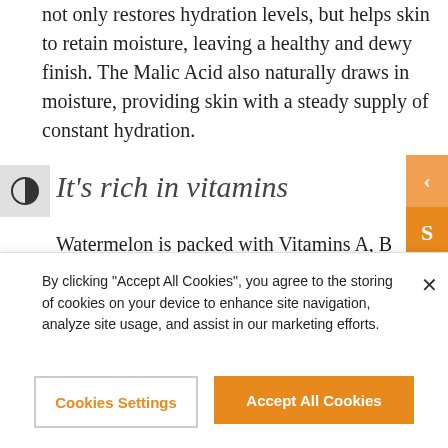not only restores hydration levels, but helps skin to retain moisture, leaving a healthy and dewy finish. The Malic Acid also naturally draws in moisture, providing skin with a steady supply of constant hydration.
It's rich in vitamins
Watermelon is packed with Vitamins A, B
By clicking "Accept All Cookies", you agree to the storing of cookies on your device to enhance site navigation, analyze site usage, and assist in our marketing efforts.